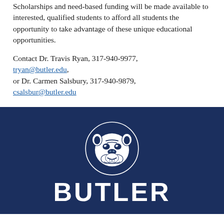Scholarships and need-based funding will be made available to interested, qualified students to afford all students the opportunity to take advantage of these unique educational opportunities.
Contact Dr. Travis Ryan, 317-940-9977, tryan@butler.edu, or Dr. Carmen Salsbury, 317-940-9879, csalsbur@butler.edu
[Figure (logo): Butler University bulldog mascot logo with the word BUTLER beneath it, displayed on a dark navy blue background]